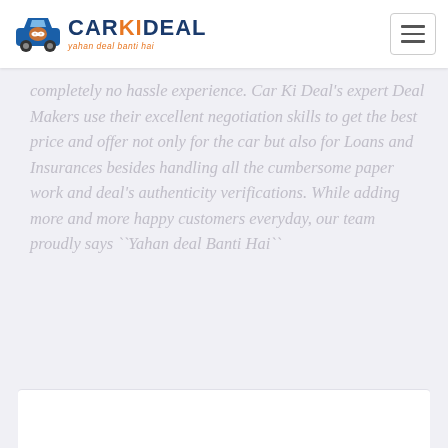[Figure (logo): Car Ki Deal logo with car icon and handshake graphic, blue and orange colors, tagline 'yahan deal banti hai']
completely no hassle experience. Car Ki Deal's expert Deal Makers use their excellent negotiation skills to get the best price and offer not only for the car but also for Loans and Insurances besides handling all the cumbersome paper work and deal's authenticity verifications. While adding more and more happy customers everyday, our team proudly says ``Yahan deal Banti Hai``